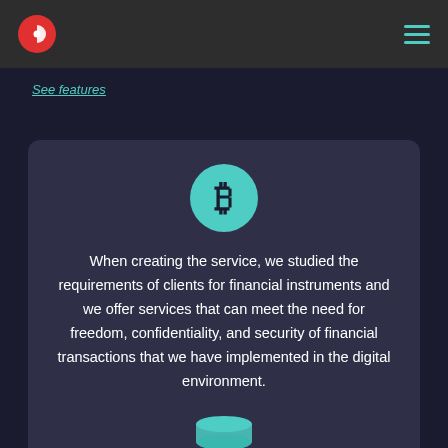Navigation bar with logo and menu
See features
[Figure (illustration): Bitcoin symbol (₿) inside a teal/mint circle, above descriptive text card]
When creating the service, we studied the requirements of clients for financial instruments and we offer services that can meet the need for freedom, confidentiality, and security of financial transactions that we have implemented in the digital environment.
[Figure (illustration): Database/cylinder icon in teal at the bottom of the page, partially visible]